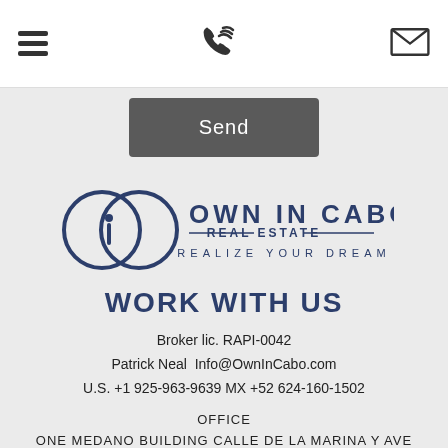[Figure (other): Navigation bar with hamburger menu icon, phone icon, and envelope icon]
[Figure (other): Send button (dark grey rounded rectangle with white text 'Send')]
[Figure (logo): Own In Cabo Real Estate logo — two overlapping circles with 'OWN IN CABO REAL ESTATE — REALIZE YOUR DREAM' text in dark navy]
WORK WITH US
Broker lic. RAPI-0042
Patrick Neal  Info@OwnInCabo.com
U.S. +1 925-963-9639  MX +52 624-160-1502
OFFICE
ONE MEDANO BUILDING CALLE DE LA MARINA Y AVE PESCADOR